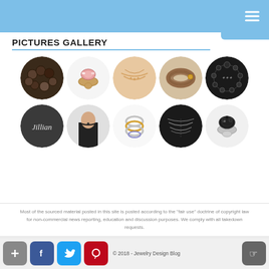PICTURES GALLERY
[Figure (photo): Gallery of 10 circular jewelry photos in two rows: beaded bracelet, pink gemstone ring, gold layered necklace, brown leather bracelet, dark beaded bracelet; name necklace 'Jillian', person wearing choker, stacked rings, layered necklaces on dark background, black gemstone ring]
Most of the sourced material posted in this site is posted according to the "fair use" doctrine of copyright law for non-commercial news reporting, education and discussion purposes. We comply with all takedown requests.
HOME   ABOUT US   PRIVACY POLICY   DISCLAIMER   SITEMAP   CONTACT US
© 2018 - Jewelry Design Blog